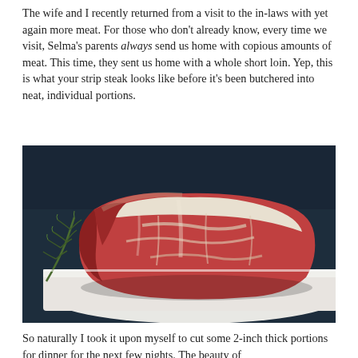The wife and I recently returned from a visit to the in-laws with yet again more meat. For those who don't already know, every time we visit, Selma's parents always send us home with copious amounts of meat. This time, they sent us home with a whole short loin. Yep, this is what your strip steak looks like before it's been butchered into neat, individual portions.
[Figure (photo): A whole short loin of beef placed on a white cutting board, with a sprig of rosemary garnish on the left side, photographed against a dark teal/charcoal background.]
So naturally I took it upon myself to cut some 2-inch thick portions for dinner for the next few nights. The beauty of